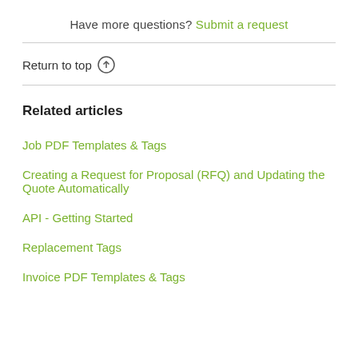Have more questions? Submit a request
Return to top ↑
Related articles
Job PDF Templates & Tags
Creating a Request for Proposal (RFQ) and Updating the Quote Automatically
API - Getting Started
Replacement Tags
Invoice PDF Templates & Tags